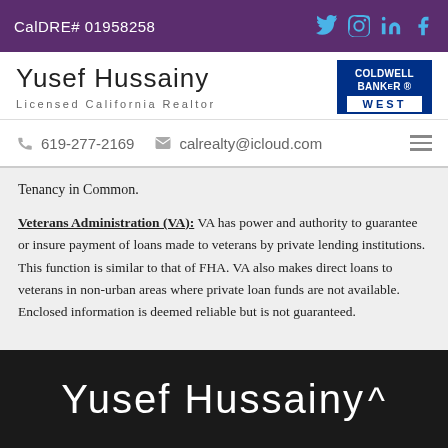CalDRE# 01958258
Yusef Hussainy
Licensed California Realtor
619-277-2169   calrealty@icloud.com
Tenancy in Common.
Veterans Administration (VA): VA has power and authority to guarantee or insure payment of loans made to veterans by private lending institutions. This function is similar to that of FHA. VA also makes direct loans to veterans in non-urban areas where private loan funds are not available. Enclosed information is deemed reliable but is not guaranteed.
Yusef Hussainy